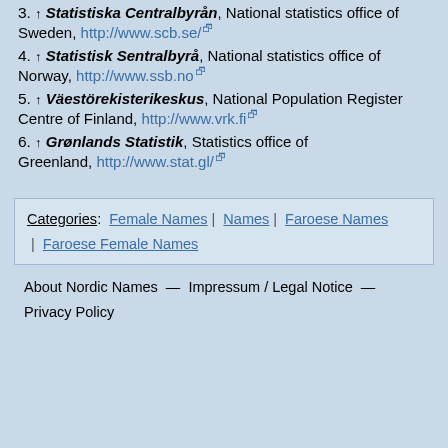3. ↑ Statistiska Centralbyrån, National statistics office of Sweden, http://www.scb.se/
4. ↑ Statistisk Sentralbyrå, National statistics office of Norway, http://www.ssb.no
5. ↑ Väestörekisterikeskus, National Population Register Centre of Finland, http://www.vrk.fi
6. ↑ Grønlands Statistik, Statistics office of Greenland, http://www.stat.gl/
Categories: Female Names | Names | Faroese Names | Faroese Female Names
About Nordic Names — Impressum / Legal Notice — Privacy Policy